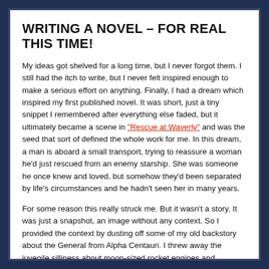WRITING A NOVEL – FOR REAL THIS TIME!
My ideas got shelved for a long time, but I never forgot them. I still had the itch to write, but I never felt inspired enough to make a serious effort on anything. Finally, I had a dream which inspired my first published novel. It was short, just a tiny snippet I remembered after everything else faded, but it ultimately became a scene in "Rescue at Waverly" and was the seed that sort of defined the whole work for me. In this dream, a man is aboard a small transport, trying to reassure a woman he'd just rescued from an enemy starship. She was someone he once knew and loved, but somehow they'd been separated by life's circumstances and he hadn't seen her in many years.
For some reason this really struck me. But it wasn't a story. It was just a snapshot, an image without any context. So I provided the context by dusting off some of my old backstory about the General from Alpha Centauri. I threw away the juvenile silliness about moon-sized rocket engines and